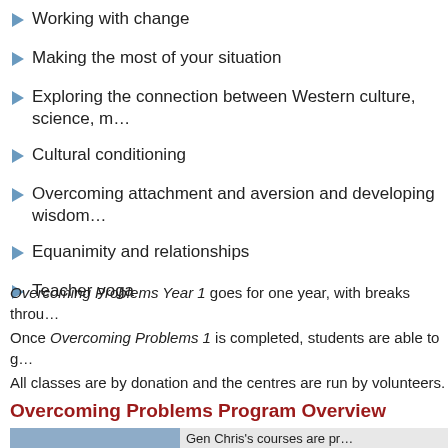Working with change
Making the most of your situation
Exploring the connection between Western culture, science, m…
Cultural conditioning
Overcoming attachment and aversion and developing wisdom…
Equanimity and relationships
Teacher yoga
Overcoming Problems Year 1 goes for one year, with breaks throu…
Once Overcoming Problems 1 is completed, students are able to g…
All classes are by donation and the centres are run by volunteers.
Overcoming Problems Program Overview
|  | Gen Chris's courses are pr… |